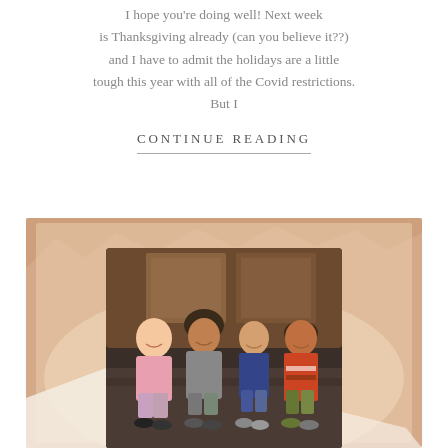I hope you're doing well! Next week is Thanksgiving already (can you believe it??) and I have to admit the holidays are a little tough this year with all of the Covid restrictions. But I
CONTINUE READING
[Figure (photo): Four children sitting together on steps in front of large ornate trunks/furniture, smiling at the camera. Set against a torn brown paper bag decorative background.]